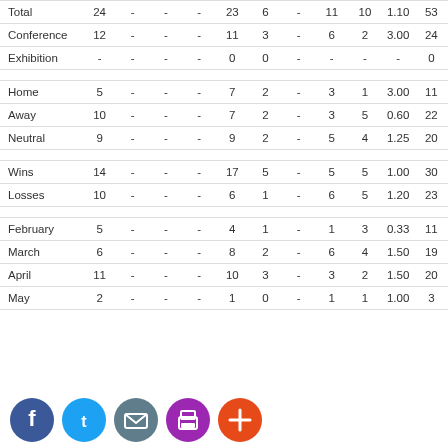|  | GP |  |  |  | G | A |  | GW | GL | Ratio | Pts |
| --- | --- | --- | --- | --- | --- | --- | --- | --- | --- | --- | --- |
| Total | 24 | - | - | - | 23 | 6 | - | 11 | 10 | 1.10 | 53 |
| Conference | 12 | - | - | - | 11 | 3 | - | 6 | 2 | 3.00 | 24 |
| Exhibition | - | - | - | - | 0 | 0 | - | - | - | - | 0 |
|  |  |  |  |  |  |  |  |  |  |  |  |
| Home | 5 | - | - | - | 7 | 2 | - | 3 | 1 | 3.00 | 11 |
| Away | 10 | - | - | - | 7 | 2 | - | 3 | 5 | 0.60 | 22 |
| Neutral | 9 | - | - | - | 9 | 2 | - | 5 | 4 | 1.25 | 20 |
|  |  |  |  |  |  |  |  |  |  |  |  |
| Wins | 14 | - | - | - | 17 | 5 | - | 5 | 5 | 1.00 | 30 |
| Losses | 10 | - | - | - | 6 | 1 | - | 6 | 5 | 1.20 | 23 |
|  |  |  |  |  |  |  |  |  |  |  |  |
| February | 5 | - | - | - | 4 | 1 | - | 1 | 3 | 0.33 | 11 |
| March | 6 | - | - | - | 8 | 2 | - | 6 | 4 | 1.50 | 19 |
| April | 11 | - | - | - | 10 | 3 | - | 3 | 2 | 1.50 | 20 |
| May | 2 | - | - | - | 1 | 0 | - | 1 | 1 | 1.00 | 3 |